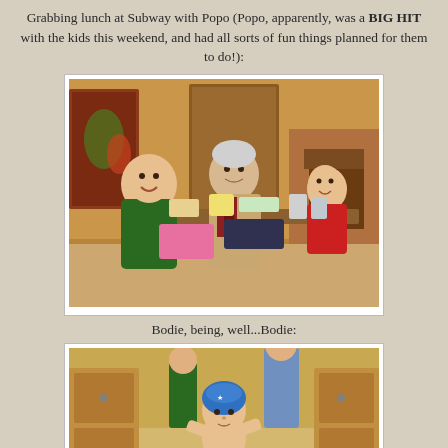Grabbing lunch at Subway with Popo (Popo, apparently, was a BIG HIT with the kids this weekend, and had all sorts of fun things planned for them to do!):
[Figure (photo): Photo of two children and an older man sitting at a Subway restaurant table with food. The girl on the left is wearing a green jacket, the man in the middle is in a beige jacket with a plaid scarf, and a toddler sits on the right wearing a red shirt.]
Bodie, being, well...Bodie:
[Figure (photo): Photo of a young shirtless toddler boy wearing a blue swim cap, standing in a kitchen hallway posing with hands on hips. Another child and adult are visible in the background.]